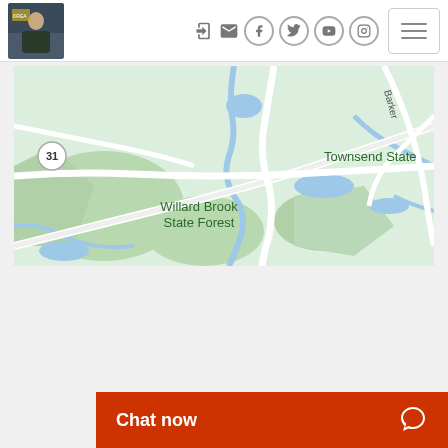Navigation header with profile image, social icons (login, email, Facebook, Twitter, YouTube, Instagram) and hamburger menu
[Figure (map): Google Maps view showing Willard Brook State Forest, W Elm St, Townsend State (Forest), Barker road, and route 31 circle marker]
Chat now